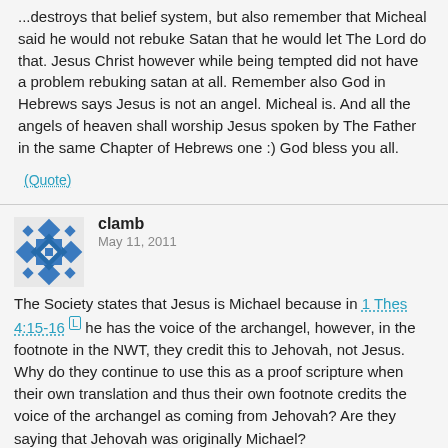...destroys that belief system, but also remember that Micheal said he would not rebuke Satan that he would let The Lord do that. Jesus Christ however while being tempted did not have a problem rebuking satan at all. Remember also God in Hebrews says Jesus is not an angel. Micheal is. And all the angels of heaven shall worship Jesus spoken by The Father in the same Chapter of Hebrews one :) God bless you all.
(Quote)
clamb
May 11, 2011
The Society states that Jesus is Michael because in 1 Thes 4:15-16 he has the voice of the archangel, however, in the footnote in the NWT, they credit this to Jehovah, not Jesus. Why do they continue to use this as a proof scripture when their own translation and thus their own footnote credits the voice of the archangel as coming from Jehovah? Are they saying that Jehovah was originally Michael?
(Quote)
Amos